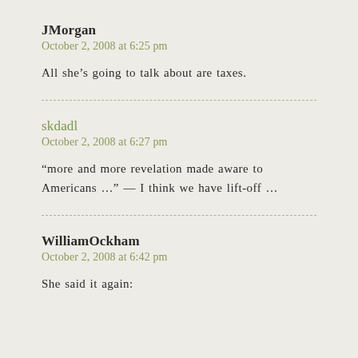JMorgan
October 2, 2008 at 6:25 pm
All she’s going to talk about are taxes.
skdadl
October 2, 2008 at 6:27 pm
“more and more revelation made aware to Americans …” — I think we have lift-off …
WilliamOckham
October 2, 2008 at 6:42 pm
She said it again: